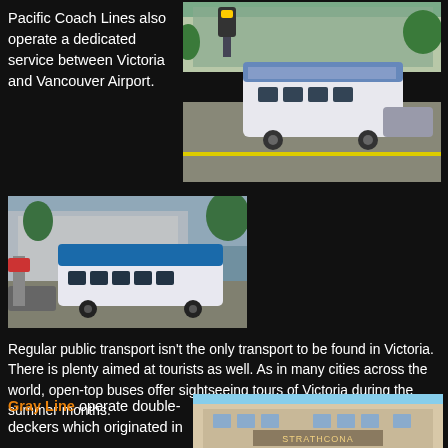Pacific Coach Lines also operate a dedicated service between Victoria and Vancouver Airport.
[Figure (photo): A coach bus (Pacific Coach Lines) on a street in Victoria, with buildings, trees, and traffic lights visible in the background.]
[Figure (photo): A Pacific Coach Lines bus on a street, with buildings and urban scenery in the background.]
Regular public transport isn't the only transport to be found in Victoria.  There is plenty aimed at tourists as well.  As in many cities across the world, open-top buses offer sightseeing tours of Victoria during the summer months.
Gray Line operate double-deckers which originated in
[Figure (photo): A building facade with a sign partially visible, likely a hotel or tourist landmark in Victoria.]